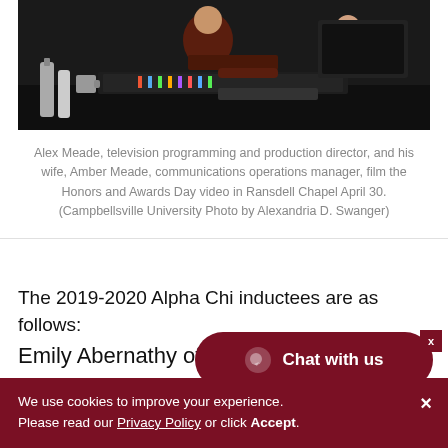[Figure (photo): Two people working at a broadcast/video production desk with equipment, in a darkened studio setting. Person in dark red/maroon shirt on left, another person on right.]
Alex Meade, television programming and production director, and his wife, Amber Meade, communications operations manager, film the Honors and Awards Day video in Ransdell Chapel April 30. (Campbellsville University Photo by Alexandria D. Swanger)
The 2019-2020 Alpha Chi inductees are as follows:
Emily Abernathy of Jeffe... Atkinson of Campbellsville,...
We use cookies to improve your experience. Please read our Privacy Policy or click Accept.